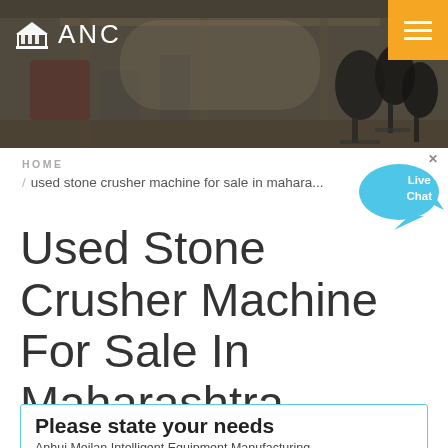[Figure (photo): Website header banner showing an industrial/factory interior background with microphones visible on the right side. ANC logo with building icon on the left, orange hamburger menu button on the top right.]
ANC
HOME / used stone crusher machine for sale in maharashtra
Used Stone Crusher Machine For Sale In Maharashtra
Please state your needs
Anhui Meilan Intelligent Equipment Manufacturing